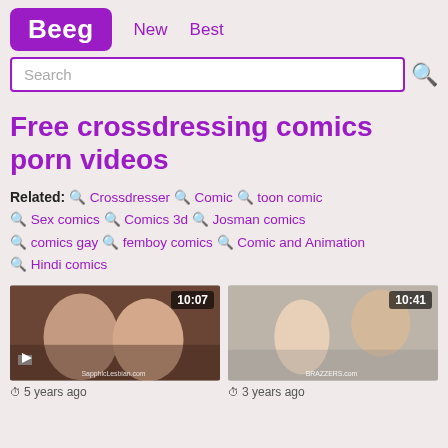Beeg | New | Best
Search
Free crossdressing comics porn videos
Related: Crossdresser Comic toon comic Sex comics Comics 3d Josman comics comics gay femboy comics Comic and Animation Hindi comics
[Figure (photo): Video thumbnail showing two women kissing, duration badge 10:07, SapphicLesbian.com watermark]
[Figure (photo): Video thumbnail showing a bald man and a blonde woman, duration badge 10:41, Brazzers.com watermark]
5 years ago
3 years ago